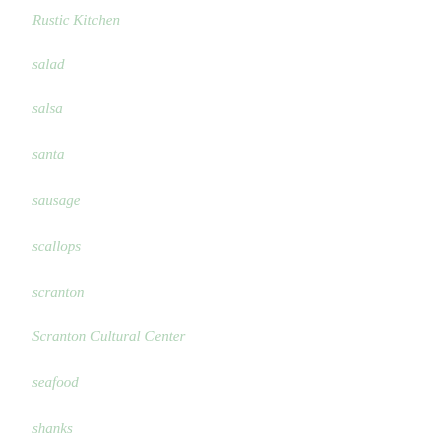Rustic Kitchen
salad
salsa
santa
sausage
scallops
scranton
Scranton Cultural Center
seafood
shanks